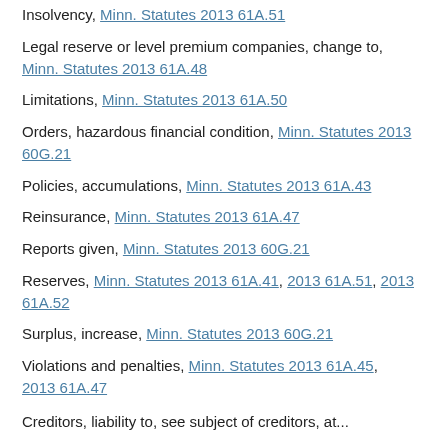Insolvency, Minn. Statutes 2013 61A.51
Legal reserve or level premium companies, change to, Minn. Statutes 2013 61A.48
Limitations, Minn. Statutes 2013 61A.50
Orders, hazardous financial condition, Minn. Statutes 2013 60G.21
Policies, accumulations, Minn. Statutes 2013 61A.43
Reinsurance, Minn. Statutes 2013 61A.47
Reports given, Minn. Statutes 2013 60G.21
Reserves, Minn. Statutes 2013 61A.41, 2013 61A.51, 2013 61A.52
Surplus, increase, Minn. Statutes 2013 60G.21
Violations and penalties, Minn. Statutes 2013 61A.45, 2013 61A.47
Creditors, liability to, see subject of creditors, at...